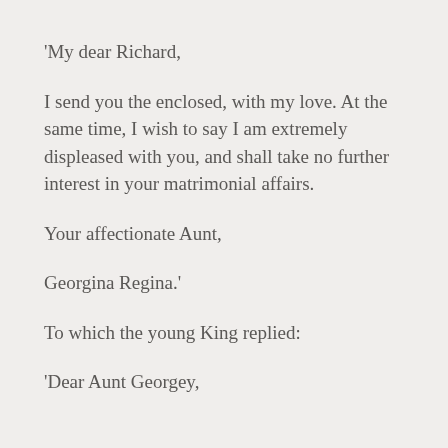‘My dear Richard,
I send you the enclosed, with my love. At the same time, I wish to say I am extremely displeased with you, and shall take no further interest in your matrimonial affairs.
Your affectionate Aunt,
Georgina Regina.’
To which the young King replied:
‘Dear Aunt Georgey,